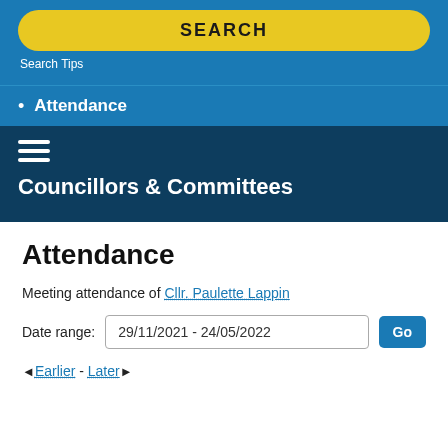[Figure (screenshot): Yellow SEARCH button on blue background]
Search Tips
Attendance
[Figure (other): Hamburger menu icon (three horizontal lines)]
Councillors & Committees
Attendance
Meeting attendance of Cllr. Paulette Lappin
Date range: 29/11/2021 - 24/05/2022
◄ Earlier - Later ►